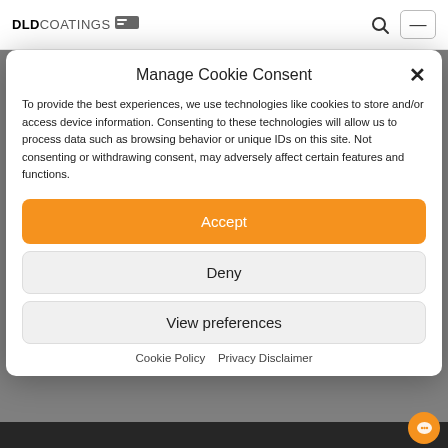[Figure (screenshot): DLD Coatings website header/navigation bar with logo and menu icon]
Manage Cookie Consent
To provide the best experiences, we use technologies like cookies to store and/or access device information. Consenting to these technologies will allow us to process data such as browsing behavior or unique IDs on this site. Not consenting or withdrawing consent, may adversely affect certain features and functions.
Accept
Deny
View preferences
Cookie Policy   Privacy Disclaimer